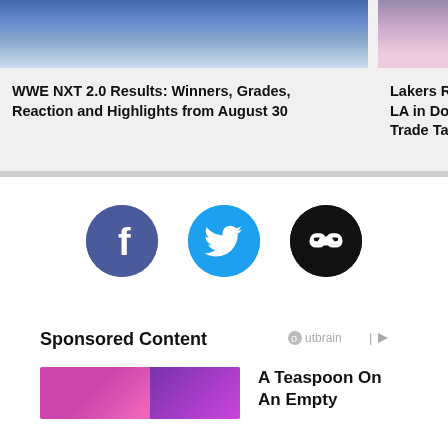[Figure (photo): WWE NXT wrestling match photo, top portion visible]
[Figure (photo): Lakers/Knicks basketball game photo, top portion visible]
[Figure (photo): Partial third article photo, orange/red color]
WWE NXT 2.0 Results: Winners, Grades, Reaction and Highlights from August 30
Lakers Rumors: Cam Reddish Interests LA in Donovan Mitchell-Knicks 3-Team Trade Talks
[Figure (illustration): Facebook share button icon - dark blue circle with white F]
[Figure (illustration): Twitter share button icon - light blue circle with white bird]
[Figure (illustration): Link/copy button icon - black circle with chain link symbol]
Sponsored Content
[Figure (logo): Outbrain logo with play icon]
[Figure (photo): Sponsored content thumbnail - colorful purple/pink illustration]
A Teaspoon On An Empty